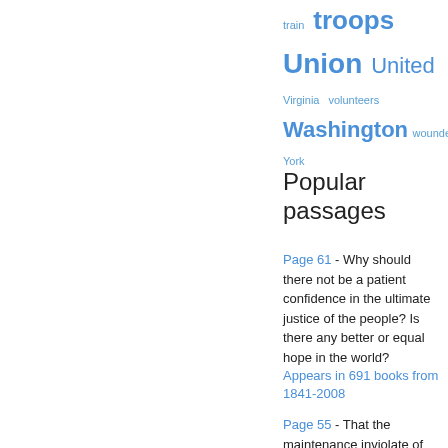train  troops  Union  United  Virginia  volunteers  Washington  wounded  York
Popular passages
Page 61 - Why should there not be a patient confidence in the ultimate justice of the people? Is there any better or equal hope in the world?
Appears in 691 books from 1841-2008
Page 55 - That the maintenance inviolate of